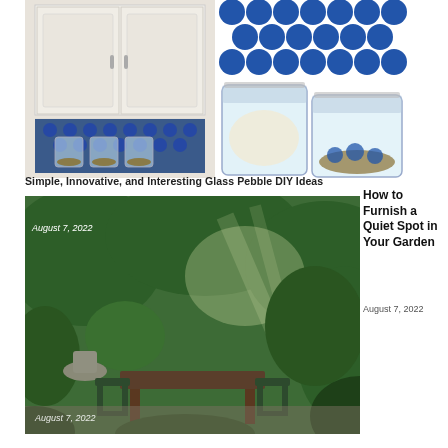[Figure (photo): White kitchen cabinet with blue patterned backsplash and glass jars on shelf]
[Figure (photo): Close-up of blue glass pebble tile backsplash with large glass mason jars containing candles and nuts]
Simple, Innovative, and Interesting Glass Pebble DIY Ideas
August 7, 2022
How to Furnish a Quiet Spot in Your Garden
August 7, 2022
[Figure (photo): Lush garden patio with wooden table, dark metal chairs, fountain, and dense green foliage with dappled sunlight]